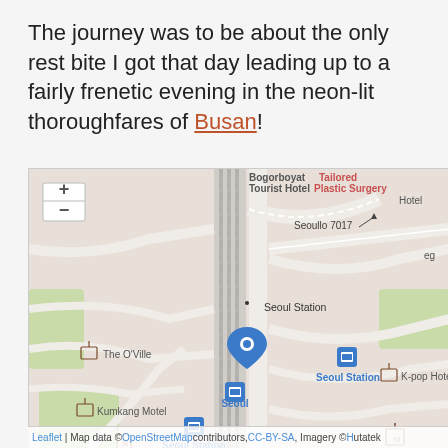The journey was to be about the only rest bite I got that day leading up to a fairly frenetic evening in the neon-lit thoroughfares of Busan!
[Figure (map): Interactive Leaflet map showing Seoul Station area in South Korea. Map displays streets, hotels including The O'Ville, Kumkang Motel, K-pop Hotel, landmarks including Bogorboyat Tourist Hotel, Tailored Plastic Surgery, Seoullo 7017 walkway, Seoul Station icons, and a blue location pin marker at Seoul Station center. Zoom controls (+/-) visible top-left. Map attribution: Leaflet | Map data © OpenStreetMap contributors, CC-BY-SA, Imagery © Hutatek]
Leaflet | Map data © OpenStreetMap contributors, CC-BY-SA, Imagery © Hutatek